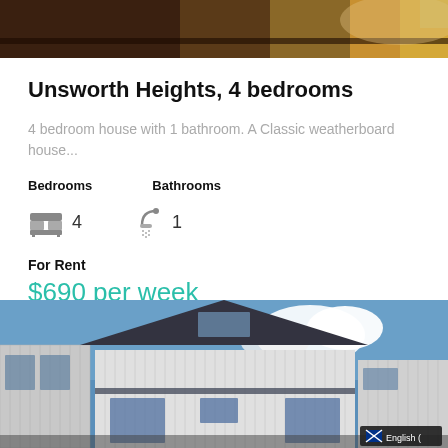[Figure (photo): Top portion of interior photo showing dark wooden furniture and light wooden floor]
Unsworth Heights, 4 bedrooms
4 bedroom house with 1 bathroom. A Classic weatherboard house...
Bedrooms  Bathrooms
4  1
For Rent
$690 per week
[Figure (photo): Exterior photo of a modern white weatherboard house with dark roof under blue sky with clouds]